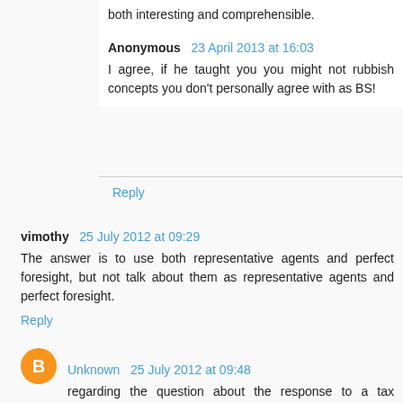both interesting and comprehensible.
Anonymous 23 April 2013 at 16:03
I agree, if he taught you you might not rubbish concepts you don't personally agree with as BS!
Reply
vimothy 25 July 2012 at 09:29
The answer is to use both representative agents and perfect foresight, but not talk about them as representative agents and perfect foresight.
Reply
Unknown 25 July 2012 at 09:48
regarding the question about the response to a tax increase, I can imagine a number of different potential